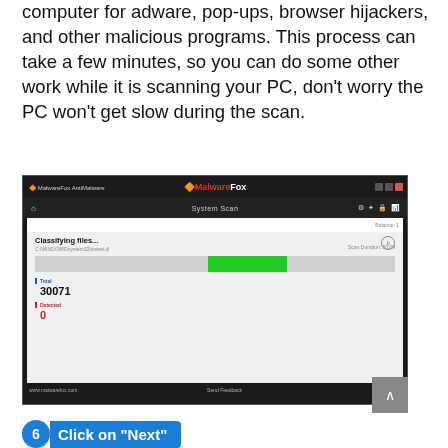computer for adware, pop-ups, browser hijackers, and other malicious programs. This process can take a few minutes, so you can do some other work while it is scanning your PC, don't worry the PC won't get slow during the scan.
[Figure (screenshot): MalwareFox AntiMalware application window showing a System Scan in progress. Classifying files with a progress bar showing green fill. Total: 30071, Detected: 0. Footer shows www.malwarefox.com, Send Feedback, and IP address.]
6  Click on "Next"